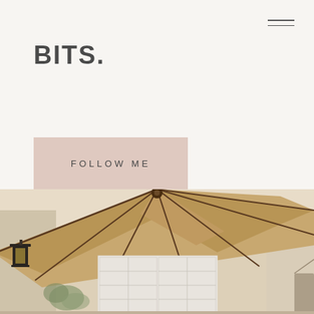[Figure (other): Hamburger menu icon with two horizontal lines in top-right corner]
BITS.
[Figure (other): Pink/blush colored button with text FOLLOW ME]
[Figure (photo): Outdoor patio photo showing a large tan/beige cantilever umbrella with dark frame ribs, white French doors/windows of a stucco house, a wall-mounted lantern light fixture on the left, and some foliage in the background]